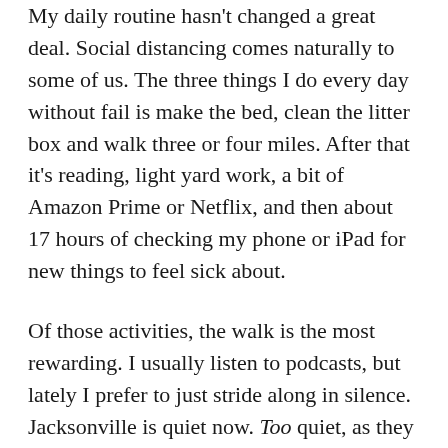My daily routine hasn't changed a great deal. Social distancing comes naturally to some of us. The three things I do every day without fail is make the bed, clean the litter box and walk three or four miles. After that it's reading, light yard work, a bit of Amazon Prime or Netflix, and then about 17 hours of checking my phone or iPad for new things to feel sick about.
Of those activities, the walk is the most rewarding. I usually listen to podcasts, but lately I prefer to just stride along in silence. Jacksonville is quiet now. Too quiet, as they say in the movies. I have been seeing a few more walkers lately, folks now jobless because of the virus, folks suffering a bit of cabin fever. But